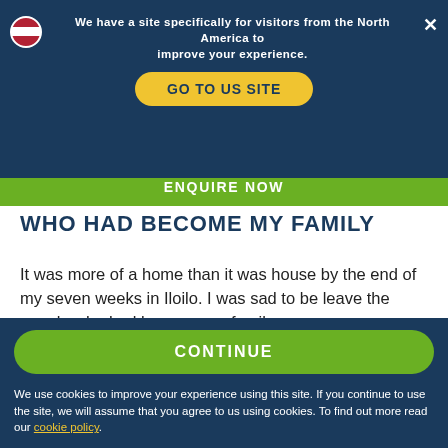We have a site specifically for visitors from the North America to improve your experience.
ENQUIRE NOW
WHO HAD BECOME MY FAMILY
It was more of a home than it was house by the end of my seven weeks in Iloilo. I was sad to be leave the people who had become my family.
By the way, the weekly BBQ nights are so much fun. Get the catering team to make you some of their famous mango float when you can — it's delicious!
CONTINUE
We use cookies to improve your experience using this site. If you continue to use the site, we will assume that you agree to us using cookies. To find out more read our cookie policy.